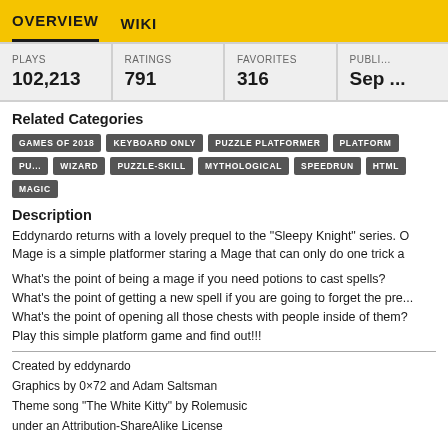OVERVIEW  WIKI
| PLAYS | RATINGS | FAVORITES | PUBLI... |
| --- | --- | --- | --- |
| 102,213 | 791 | 316 | Sep ... |
Related Categories
GAMES OF 2018
KEYBOARD ONLY
PUZZLE PLATFORMER
PLATFORM
PU...
WIZARD
PUZZLE-SKILL
MYTHOLOGICAL
SPEEDRUN
HTML
MAGIC
Description
Eddynardo returns with a lovely prequel to the "Sleepy Knight" series. O Mage is a simple platformer staring a Mage that can only do one trick a
What's the point of being a mage if you need potions to cast spells?
What's the point of getting a new spell if you are going to forget the pre...
What's the point of opening all those chests with people inside of them?
Play this simple platform game and find out!!!
Created by eddynardo
Graphics by 0×72 and Adam Saltsman
Theme song "The White Kitty" by Rolemusic
under an Attribution-ShareAlike License